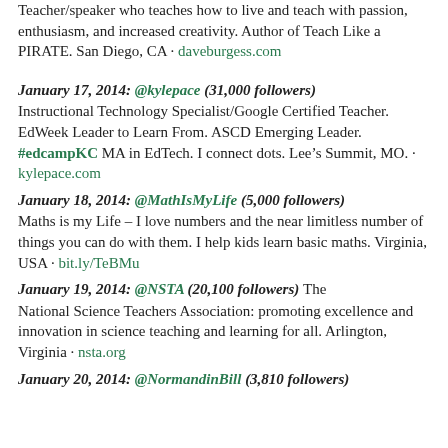Teacher/speaker who teaches how to live and teach with passion, enthusiasm, and increased creativity. Author of Teach Like a PIRATE. San Diego, CA · daveburgess.com
January 17, 2014: @kylepace (31,000 followers) Instructional Technology Specialist/Google Certified Teacher. EdWeek Leader to Learn From. ASCD Emerging Leader. #edcampKC MA in EdTech. I connect dots. Lee's Summit, MO. · kylepace.com
January 18, 2014: @MathIsMyLife (5,000 followers) Maths is my Life – I love numbers and the near limitless number of things you can do with them. I help kids learn basic maths. Virginia, USA · bit.ly/TeBMu
January 19, 2014: @NSTA (20,100 followers) The National Science Teachers Association: promoting excellence and innovation in science teaching and learning for all. Arlington, Virginia · nsta.org
January 20, 2014: @NormandinBill (3,810 followers)